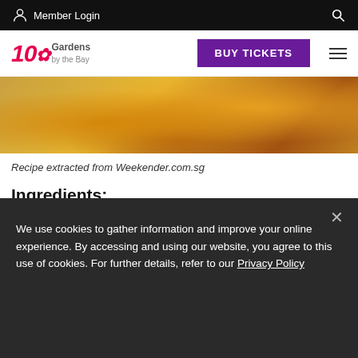Member Login
[Figure (logo): 10 Gardens by the Bay logo with pink/red stylised '10' and grey text]
[Figure (photo): Close-up photo of a plate of fried food, likely prawns or seafood dish]
Recipe extracted from Weekender.com.sg
Ingredients:
We use cookies to gather information and improve your online experience. By accessing and using our website, you agree to this use of cookies. For further details, refer to our Privacy Policy